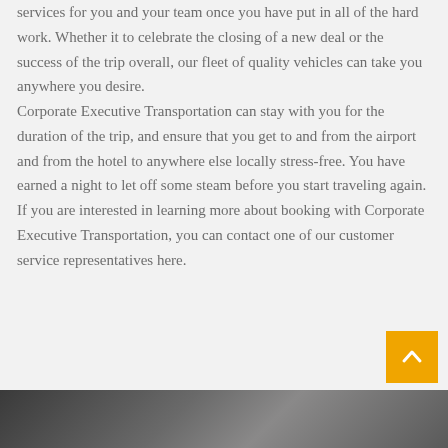services for you and your team once you have put in all of the hard work. Whether it to celebrate the closing of a new deal or the success of the trip overall, our fleet of quality vehicles can take you anywhere you desire.
Corporate Executive Transportation can stay with you for the duration of the trip, and ensure that you get to and from the airport and from the hotel to anywhere else locally stress-free. You have earned a night to let off some steam before you start traveling again. If you are interested in learning more about booking with Corporate Executive Transportation, you can contact one of our customer service representatives here.
[Figure (photo): Dark colored photo strip at the bottom of the page, appears to show part of a vehicle interior or exterior in dark tones]